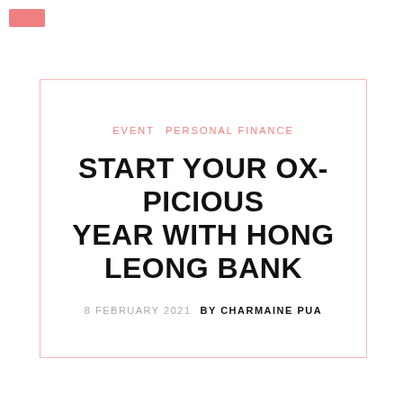EVENT   PERSONAL FINANCE
START YOUR OX-PICIOUS YEAR WITH HONG LEONG BANK
8 FEBRUARY 2021   BY CHARMAINE PUA